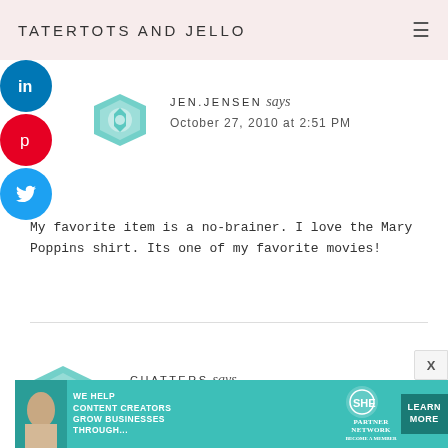TATERTOTS AND JELLO
[Figure (logo): Social share buttons: LinkedIn (blue), Pinterest (red), Twitter (blue) circular buttons stacked vertically on left side]
[Figure (illustration): Teal decorative quilt-pattern avatar icon for commenter Jen.Jensen]
JEN.JENSEN says
October 27, 2010 at 2:51 PM
My favorite item is a no-brainer. I love the Mary Poppins shirt. Its one of my favorite movies!
[Figure (illustration): Teal decorative quilt-pattern avatar icon for commenter Chatters]
CHATTERS says
October 27, 2010 at 2:46 PM
[Figure (infographic): SHE Partner Network advertisement banner: We help content creators grow businesses through... with Learn More button]